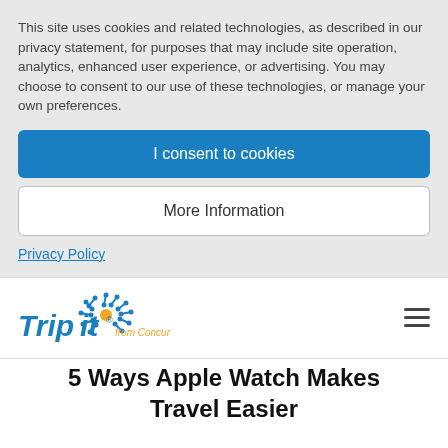This site uses cookies and related technologies, as described in our privacy statement, for purposes that may include site operation, analytics, enhanced user experience, or advertising. You may choose to consent to our use of these technologies, or manage your own preferences.
I consent to cookies
More Information
Privacy Policy
[Figure (logo): TripIt from Concur logo — blue stylized text 'TripIt' with an orange starburst/sun icon above the 'i', and small text 'from Concur' in orange below]
5 Ways Apple Watch Makes Travel Easier